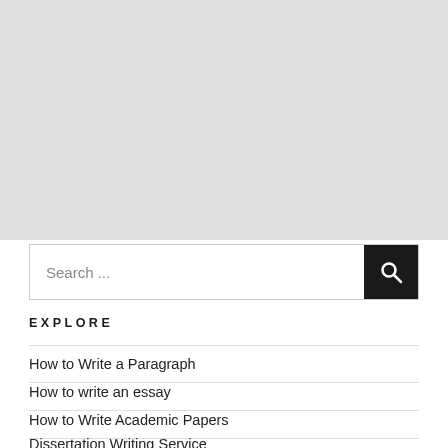[Figure (other): Large light gray background area at top of page, approximately half the page height]
Search ...
EXPLORE
How to Write a Paragraph
How to write an essay
How to Write Academic Papers
Dissertation Writing Service
MBA...